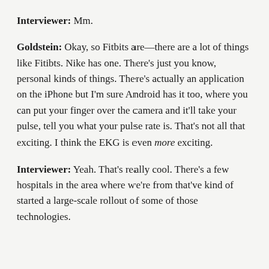Interviewer: Mm.
Goldstein: Okay, so Fitbits are—there are a lot of things like Fitibts. Nike has one. There's just you know, personal kinds of things. There's actually an application on the iPhone but I'm sure Android has it too, where you can put your finger over the camera and it'll take your pulse, tell you what your pulse rate is. That's not all that exciting. I think the EKG is even more exciting.
Interviewer: Yeah. That's really cool. There's a few hospitals in the area where we're from that've kind of started a large-scale rollout of some of those technologies.